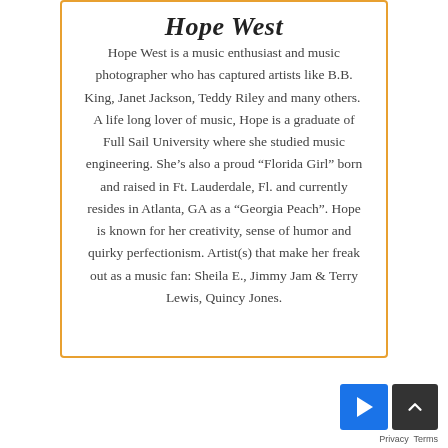Hope West
Hope West is a music enthusiast and music photographer who has captured artists like B.B. King, Janet Jackson, Teddy Riley and many others.  A life long lover of music, Hope is a graduate of Full Sail University where she studied music engineering. She’s also a proud “Florida Girl” born and raised in Ft. Lauderdale, Fl. and currently resides in Atlanta, GA as a “Georgia Peach”. Hope is known for her creativity, sense of humor and quirky perfectionism. Artist(s) that make her freak out as a music fan: Sheila E., Jimmy Jam & Terry Lewis, Quincy Jones.